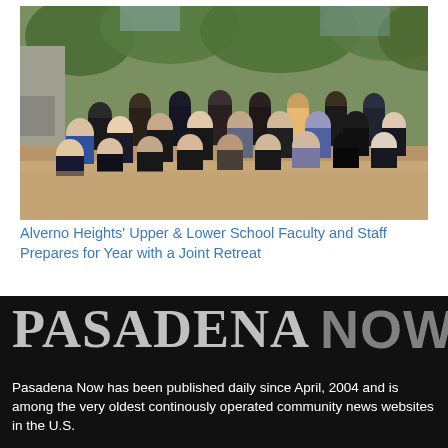[Figure (photo): Large group photo of Alverno Heights Upper and Lower School faculty and staff posing outdoors in front of trees on a dirt/gravel area, many making hand gestures, smiling at the camera.]
Alverno Heights' Upper & Lower School Faculty and Staff Prepares for Year with a Joint Retreat
[Figure (logo): Pasadena Now logo — 'PASADENA' in large serif bold gray text and 'NOW' in large sans-serif bold darker gray text on a black background.]
Pasadena Now has been published daily since April, 2004 and is among the very oldest continously operated community news websites in the U.S.